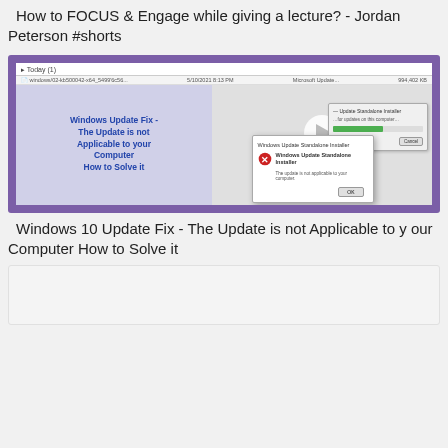How to FOCUS & Engage while giving a lecture? - Jordan Peterson #shorts
[Figure (screenshot): Screenshot of a YouTube video thumbnail showing a Windows Update Fix tutorial with a Windows Update Standalone Installer dialog showing 'The update is not applicable to your computer' error message on a purple background.]
Windows 10 Update Fix - The Update is not Applicable to your Computer How to Solve it
[Figure (screenshot): Partially visible thumbnail for another video at the bottom of the page, mostly blank/light gray.]